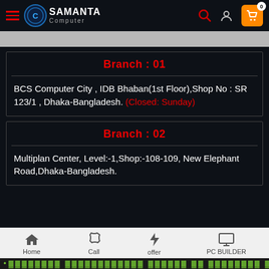Samanta Computer - navigation bar with logo, search, user, and cart icons
Branch : 01
BCS Computer City , IDB Bhaban(1st Floor),Shop No : SR 123/1 , Dhaka-Bangladesh. (Closed: Sunday)
Branch : 02
Multiplan Center, Level:-1,Shop:-108-109, New Elephant Road,Dhaka-Bangladesh.
Home | Call | offer | PC BUILDER